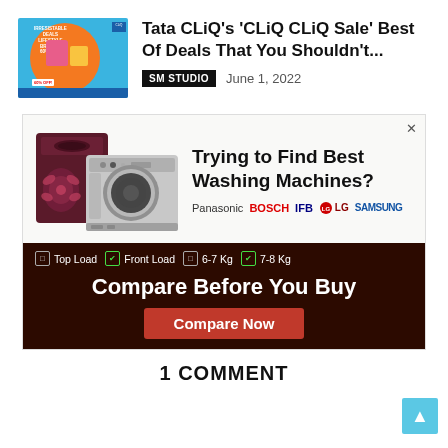[Figure (screenshot): Thumbnail image for Tata CLiQ sale article showing colorful shopping/lifestyle advertisement]
Tata CLiQ's 'CLiQ CLiQ Sale' Best Of Deals That You Shouldn't...
SM STUDIO   June 1, 2022
[Figure (screenshot): Advertisement for washing machine comparison website. Shows two washing machines (top-load and front-load), brands Panasonic, BOSCH, IFB, LG, Samsung, filter options (Top Load, Front Load, 6-7 Kg, 7-8 Kg), headline 'Trying to Find Best Washing Machines?', tagline 'Compare Before You Buy', and a red 'Compare Now' button.]
1 COMMENT